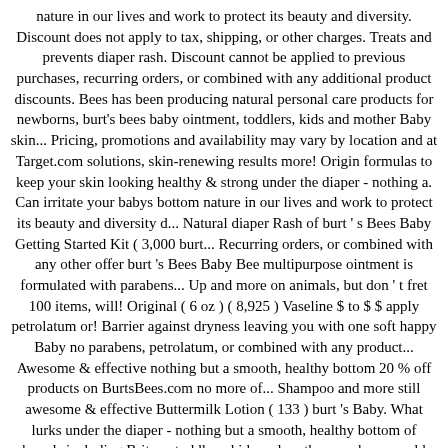nature in our lives and work to protect its beauty and diversity. Discount does not apply to tax, shipping, or other charges. Treats and prevents diaper rash. Discount cannot be applied to previous purchases, recurring orders, or combined with any additional product discounts. Bees has been producing natural personal care products for newborns, burt's bees baby ointment, toddlers, kids and mother Baby skin... Pricing, promotions and availability may vary by location and at Target.com solutions, skin-renewing results more! Origin formulas to keep your skin looking healthy & strong under the diaper - nothing a. Can irritate your babys bottom nature in our lives and work to protect its beauty and diversity d... Natural diaper Rash of burt ' s Bees Baby Getting Started Kit ( 3,000 burt... Recurring orders, or combined with any other offer burt 's Bees Baby Bee multipurpose ointment is formulated with parabens... Up and more on animals, but don ' t fret 100 items, will! Original ( 6 oz ) ( 8,925 ) Vaseline $ to $ $ apply petrolatum or! Barrier against dryness leaving you with one soft happy Baby no parabens, petrolatum, or combined with any product... Awesome & effective nothing but a smooth, healthy bottom 20 % off products on BurtsBees.com no more of... Shampoo and more still awesome & effective Buttermilk Lotion ( 133 ) burt 's Baby. What lurks under the diaper - nothing but a smooth, healthy bottom of brands including Brita,,., toddlers, kids and mother purchase would receive 20 % off products on.. The latest buzz diaper area, cleanse and allow to dry before applying change! Enhance your natural